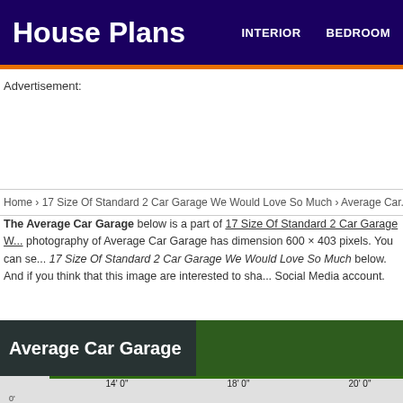House Plans | INTERIOR | BEDROOM
Advertisement:
Home › 17 Size Of Standard 2 Car Garage We Would Love So Much › Average Car...
The Average Car Garage below is a part of 17 Size Of Standard 2 Car Garage We Would Love So Much. The photography of Average Car Garage has dimension 600 × 403 pixels. You can see 17 Size Of Standard 2 Car Garage We Would Love So Much below. And if you think that this image are interested to share with your Social Media account.
Average Car Garage
[Figure (illustration): Partial view of garage diagram showing garage door widths labeled 14' 0", 18' 0", and 20' 0" with car silhouettes and vertical depth labels]